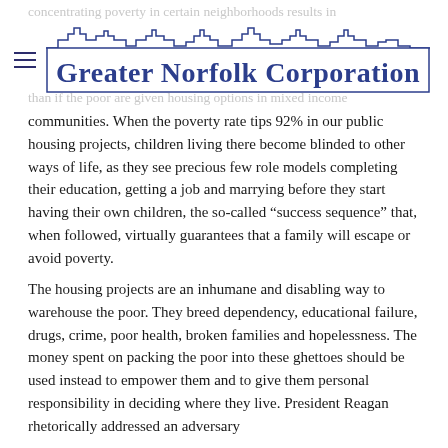Greater Norfolk Corporation (logo with navigation)
concentrating poverty in certain neighborhoods results in... than if the poor are given housing options in mixed-income communities. When the poverty rate tips 92% in our public housing projects, children living there become blinded to other ways of life, as they see precious few role models completing their education, getting a job and marrying before they start having their own children, the so-called “success sequence” that, when followed, virtually guarantees that a family will escape or avoid poverty.
The housing projects are an inhumane and disabling way to warehouse the poor. They breed dependency, educational failure, drugs, crime, poor health, broken families and hopelessness. The money spent on packing the poor into these ghettoes should be used instead to empower them and to give them personal responsibility in deciding where they live. President Reagan rhetorically addressed an adversary